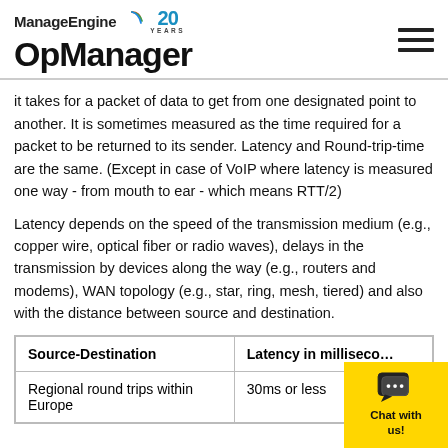ManageEngine OpManager
it takes for a packet of data to get from one designated point to another. It is sometimes measured as the time required for a packet to be returned to its sender. Latency and Round-trip-time are the same. (Except in case of VoIP where latency is measured one way - from mouth to ear - which means RTT/2)
Latency depends on the speed of the transmission medium (e.g., copper wire, optical fiber or radio waves), delays in the transmission by devices along the way (e.g., routers and modems), WAN topology (e.g., star, ring, mesh, tiered) and also with the distance between source and destination.
| Source-Destination | Latency in milliseconds |
| --- | --- |
| Regional round trips within Europe | 30ms or less |